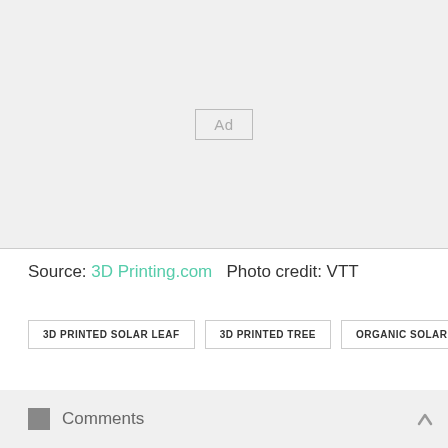[Figure (other): Advertisement placeholder block with light gray background and 'Ad' label in center]
Source: 3D Printing.com  Photo credit: VTT
3D PRINTED SOLAR LEAF
3D PRINTED TREE
ORGANIC SOLAR CE…
Comments